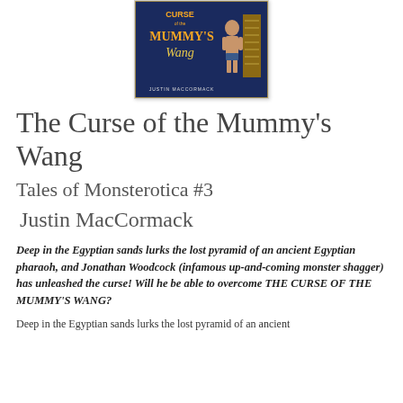[Figure (illustration): Book cover for 'Curse of the Mummy's Wang' by Justin MacCormack. Dark blue background with golden text and a muscular shirtless man standing next to Egyptian hieroglyphic tablets.]
The Curse of the Mummy's Wang
Tales of Monsterotica #3
Justin MacCormack
Deep in the Egyptian sands lurks the lost pyramid of an ancient Egyptian pharaoh, and Jonathan Woodcock (infamous up-and-coming monster shagger) has unleashed the curse! Will he be able to overcome THE CURSE OF THE MUMMY'S WANG?
Deep in the Egyptian sands lurks the lost pyramid of an ancient